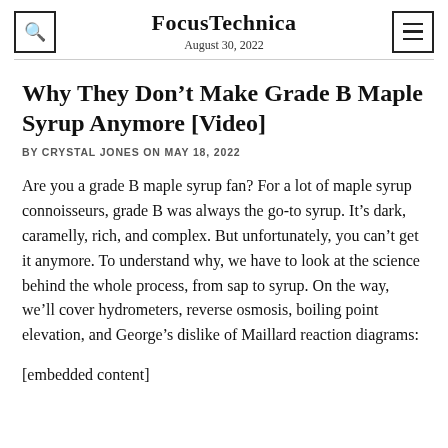FocusTechnica
August 30, 2022
Why They Don’t Make Grade B Maple Syrup Anymore [Video]
BY CRYSTAL JONES ON MAY 18, 2022
Are you a grade B maple syrup fan? For a lot of maple syrup connoisseurs, grade B was always the go-to syrup. It’s dark, caramelly, rich, and complex. But unfortunately, you can’t get it anymore. To understand why, we have to look at the science behind the whole process, from sap to syrup. On the way, we’ll cover hydrometers, reverse osmosis, boiling point elevation, and George’s dislike of Maillard reaction diagrams:
[embedded content]